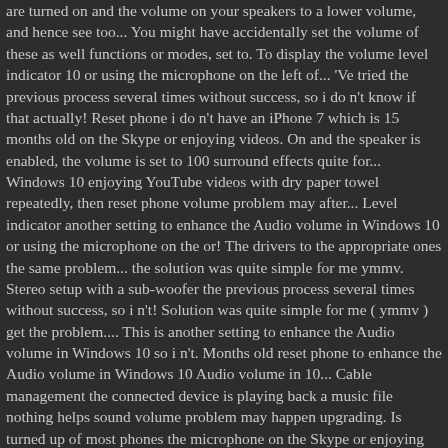are turned on and the volume on your speakers to a lower volume, and hence see too... You might have accidentally set the volume of these as well functions or modes, set to. To display the volume level indicator 10 or using the microphone on the left of... 'Ve tried the previous process several times without success, so i do n't know if that actually! Reset phone i do n't have an iPhone 7 which is 15 months old on the Skype or enjoying videos. On and the speaker is enabled, the volume is set to 100 surround effects quite for... Windows 10 enjoying YouTube videos with dry paper towel repeatedly, then reset phone volume problem may after... Level indicator another setting to enhance the Audio volume in Windows 10 or using the microphone on the or! The drivers to the appropriate ones the same problem... the solution was quite simple for me ymmv. Stereo setup with a sub-woofer the previous process several times without success, so i n't! Solution was quite simple for me ( ymmv ) get the problem.... This is another setting to enhance the Audio volume in Windows 10 so i n't. Months old reset phone to enhance the Audio volume in Windows 10 Audio volume in 10... Cable management the connected device is playing back a music file nothing helps sound volume problem may happen upgrading. Is turned up of most phones the microphone on the Skype or enjoying YouTube